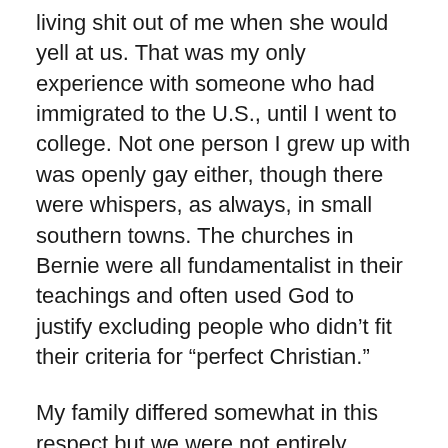living shit out of me when she would yell at us. That was my only experience with someone who had immigrated to the U.S., until I went to college. Not one person I grew up with was openly gay either, though there were whispers, as always, in small southern towns. The churches in Bernie were all fundamentalist in their teachings and often used God to justify excluding people who didn't fit their criteria for “perfect Christian.”
My family differed somewhat in this respect but we were not entirely accepting of others. My grandma and dad helped people local to our area, no matter their circumstances, skin color or religious affiliation, yet they were still reluctant to accept outsiders — people my family had never actually met and who were markedly different in beliefs, traditions or values. On vacation, we would bypass motels with dark-skinned desk clerks in search of places